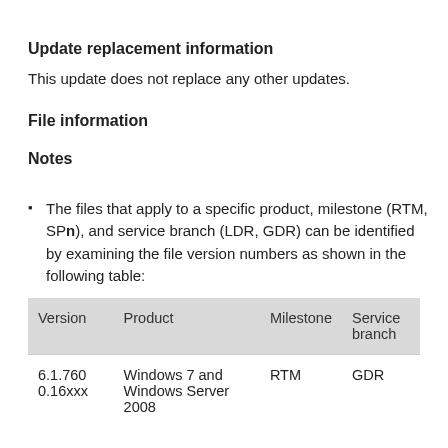Update replacement information
This update does not replace any other updates.
File information
Notes
The files that apply to a specific product, milestone (RTM, SPn), and service branch (LDR, GDR) can be identified by examining the file version numbers as shown in the following table:
| Version | Product | Milestone | Service branch |
| --- | --- | --- | --- |
| 6.1.760
0.16xxx | Windows 7 and
Windows Server 2008 | RTM | GDR |